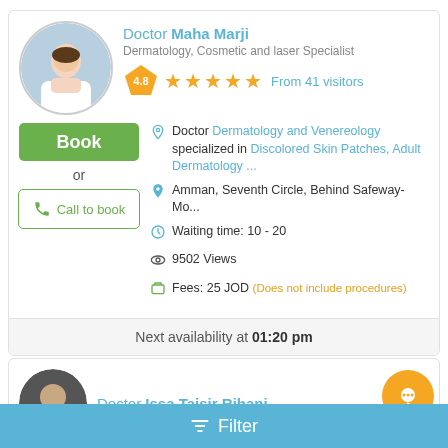[Figure (photo): Circular avatar photo of Doctor Maha Marji, a woman in white medical coat]
Doctor Maha Marji
Dermatology, Cosmetic and laser Specialist
4.8 ★★★★★ From 41 visitors
Book
or
Call to book
Doctor Dermatology and Venereology specialized in Discolored Skin Patches, Adult Dermatology ...
Amman, Seventh Circle, Behind Safeway- Mo...
Waiting time: 10 - 20
9502 Views
Fees: 25 JOD (Does not include procedures)
Next availability at 01:20 pm
Doctor Issa Taisir Rihani
Filter